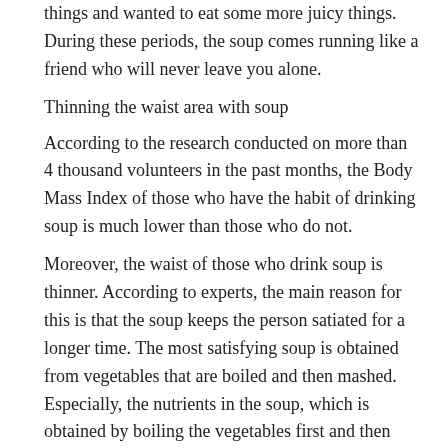things and wanted to eat some more juicy things. During these periods, the soup comes running like a friend who will never leave you alone.
Thinning the waist area with soup
According to the research conducted on more than 4 thousand volunteers in the past months, the Body Mass Index of those who have the habit of drinking soup is much lower than those who do not.
Moreover, the waist of those who drink soup is thinner. According to experts, the main reason for this is that the soup keeps the person satiated for a longer time. The most satisfying soup is obtained from vegetables that are boiled and then mashed.
Especially, the nutrients in the soup, which is obtained by boiling the vegetables first and then passing them through the blender, increases the level of satiety hormone at the same speed as it mixes with the bloodstream faster and this causes you to become hungry late.
It is possible to avoid flu with these soups!
Fatma Kahraman, Acıbadem University Atakent Hospital Nutrition and Diet Expert...